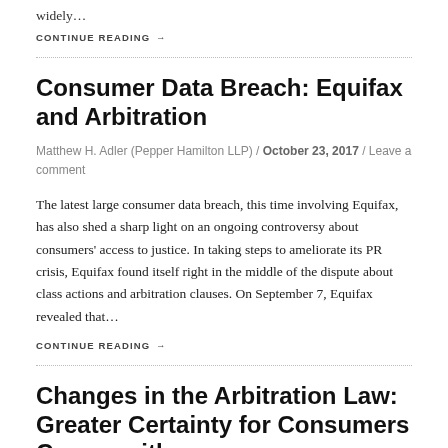widely…
CONTINUE READING →
Consumer Data Breach: Equifax and Arbitration
Matthew H. Adler (Pepper Hamilton LLP) / October 23, 2017 / Leave a comment
The latest large consumer data breach, this time involving Equifax, has also shed a sharp light on an ongoing controversy about consumers' access to justice. In taking steps to ameliorate its PR crisis, Equifax found itself right in the middle of the dispute about class actions and arbitration clauses. On September 7, Equifax revealed that…
CONTINUE READING →
Changes in the Arbitration Law: Greater Certainty for Consumers Comes with